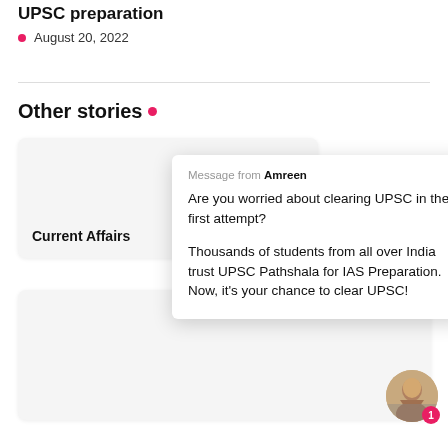UPSC preparation
August 20, 2022
Other stories •
Current Affairs
Message from Amreen
Are you worried about clearing UPSC in the first attempt?
Thousands of students from all over India trust UPSC Pathshala for IAS Preparation. Now, it's your chance to clear UPSC!
[Figure (photo): Avatar photo of a person with notification badge showing 1]